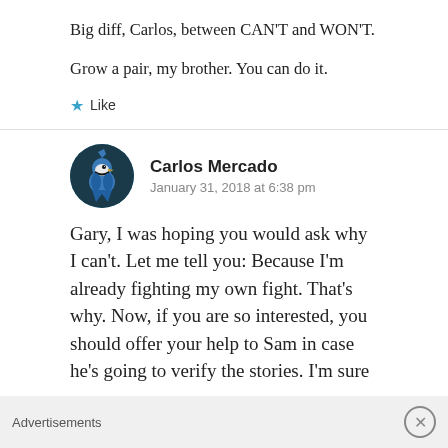Big diff, Carlos, between CAN'T and WON'T.

Grow a pair, my brother. You can do it.
★ Like
Carlos Mercado
January 31, 2018 at 6:38 pm
Gary, I was hoping you would ask why I can't. Let me tell you: Because I'm already fighting my own fight. That's why. Now, if you are so interested, you should offer your help to Sam in case he's going to verify the stories. I'm sure
Advertisements